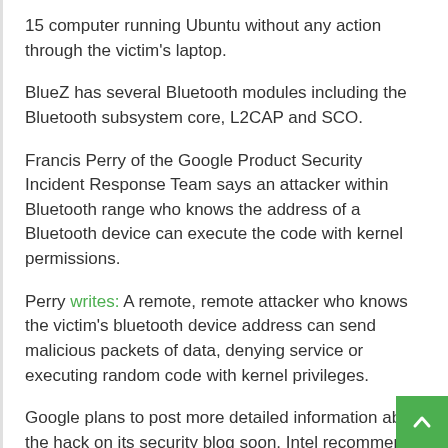15 computer running Ubuntu without any action through the victim's laptop.
BlueZ has several Bluetooth modules including the Bluetooth subsystem core, L2CAP and SCO.
Francis Perry of the Google Product Security Incident Response Team says an attacker within Bluetooth range who knows the address of a Bluetooth device can execute the code with kernel permissions.
Perry writes: A remote, remote attacker who knows the victim's bluetooth device address can send malicious packets of data, denying service or executing random code with kernel privileges.
Google plans to post more detailed information about the hack on its security blog soon. Intel recommends installing the kernel patch to solve the issue where the